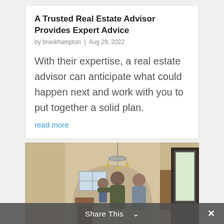A Trusted Real Estate Advisor Provides Expert Advice
by brookhampton | Aug 29, 2022
With their expertise, a real estate advisor can anticipate what could happen next and work with you to put together a solid plan.
read more
[Figure (photo): Interior home scene showing a family — a man holding a child, a woman, standing in a room with an arched doorway, chandelier, and door to outside with natural light]
Share This